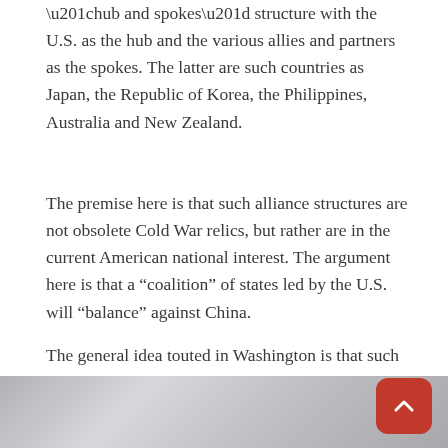“hub and spokes” structure with the U.S. as the hub and the various allies and partners as the spokes. The latter are such countries as Japan, the Republic of Korea, the Philippines, Australia and New Zealand.
The premise here is that such alliance structures are not obsolete Cold War relics, but rather are in the current American national interest. The argument here is that a “coalition” of states led by the U.S. will “balance” against China.
The general idea touted in Washington is that such an alliance will strengthen the American position against China and thus regional security in the Asia-Pacific region. If war does break out, then Washington will have allies to follow its lead.
[Figure (photo): Blurred black and white close-up photo, partially visible at the bottom of the page.]